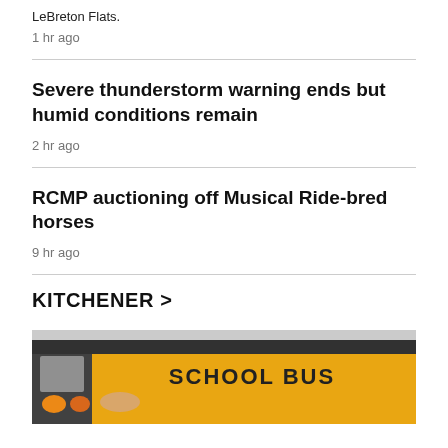LeBreton Flats.
1 hr ago
Severe thunderstorm warning ends but humid conditions remain
2 hr ago
RCMP auctioning off Musical Ride-bred horses
9 hr ago
KITCHENER >
[Figure (photo): Yellow school bus with SCHOOL BUS text visible, shot from front-side angle showing headlights]